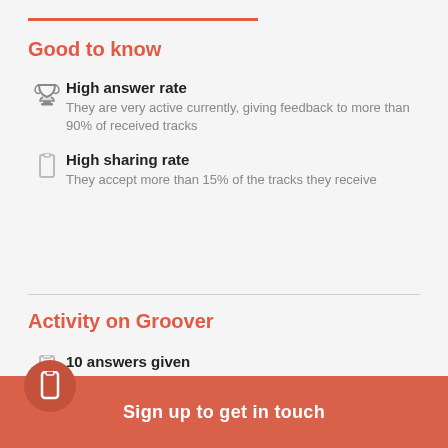Good to know
High answer rate
They are very active currently, giving feedback to more than 90% of received tracks
High sharing rate
They accept more than 15% of the tracks they receive
Activity on Groover
10 answers given
Since signing up
100% answer rate
Sign up to get in touch